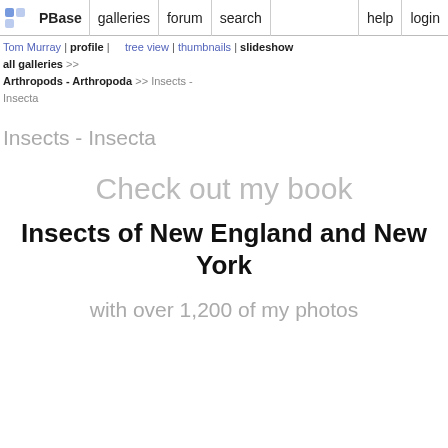PBase | galleries | forum | search | help | login
Tom Murray | profile | tree view | thumbnails | slideshow
all galleries >>
Arthropods - Arthropoda >> Insects - Insecta
Insects - Insecta
Check out my book
Insects of New England and New York
with over 1,200 of my photos